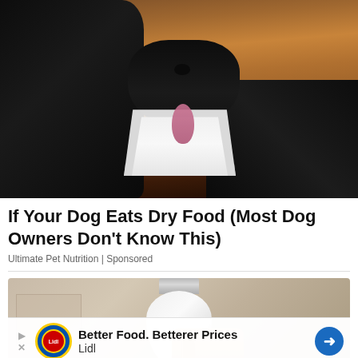[Figure (photo): A black dog licking from a small square glass dish containing a white creamy substance, placed on a wooden surface. The dog's snout and paws are visible.]
If Your Dog Eats Dry Food (Most Dog Owners Don't Know This)
Ultimate Pet Nutrition | Sponsored
[Figure (photo): A hand holding a white LED light bulb against a beige/tan background.]
Better Food. Betterer Prices Lidl